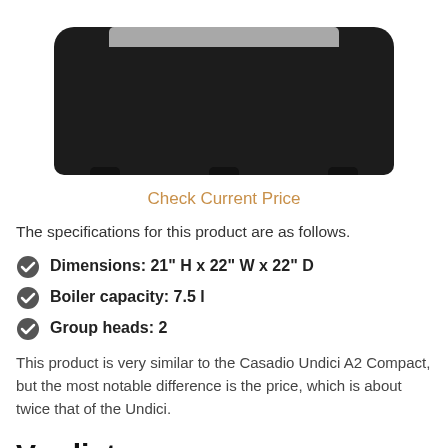[Figure (photo): Bottom portion of a black espresso machine with stainless steel top strip and rubber feet on white background]
Check Current Price
The specifications for this product are as follows.
Dimensions: 21" H x 22" W x 22" D
Boiler capacity: 7.5 l
Group heads: 2
This product is very similar to the Casadio Undici A2 Compact, but the most notable difference is the price, which is about twice that of the Undici.
Verdict